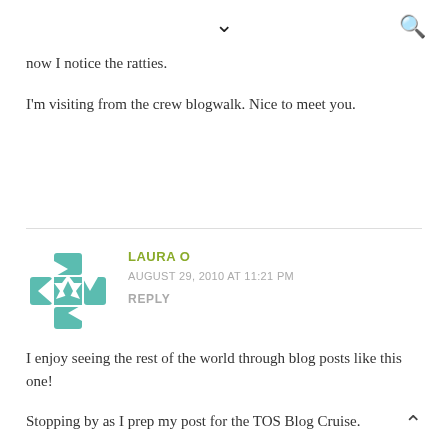▾ 🔍
how I notice the ratties.
I'm visiting from the crew blogwalk. Nice to meet you.
LAURA O
AUGUST 29, 2010 AT 11:21 PM
REPLY
I enjoy seeing the rest of the world through blog posts like this one!

Stopping by as I prep my post for the TOS Blog Cruise.